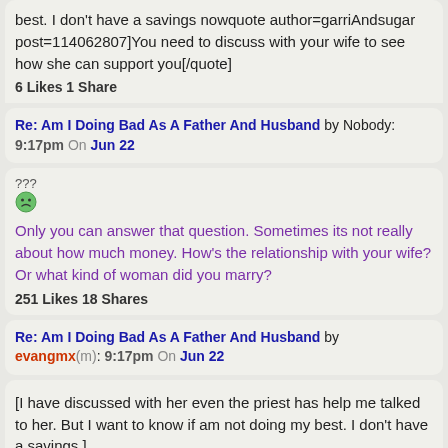best. I don't have a savings nowquote author=garriAndsugar post=114062807]You need to discuss with your wife to see how she can support you[/quote]
6 Likes 1 Share
Re: Am I Doing Bad As A Father And Husband by Nobody: 9:17pm On Jun 22
???
(smiley face emoji)
Only you can answer that question. Sometimes its not really about how much money. How's the relationship with your wife? Or what kind of woman did you marry?
251 Likes 18 Shares
Re: Am I Doing Bad As A Father And Husband by evangmx(m): 9:17pm On Jun 22
[I have discussed with her even the priest has help me talked to her. But I want to know if am not doing my best. I don't have a savings ]
Re: Am I Doing Bad As A Father And Husband